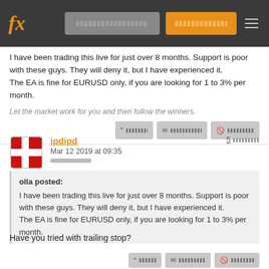fx [navigation bar with search and login buttons]
I have been trading this live for just over 8 months. Support is poor with these guys. They will deny it, but I have experienced it.
The EA is fine for EURUSD only, if you are looking for 1 to 3% per month.
Let the market work for you and then follow the winners.
ipdipd
Mar 12 2019 at 09:35
5 [rating]
olla posted:
I have been trading this live for just over 8 months. Support is poor with these guys. They will deny it, but I have experienced it.
The EA is fine for EURUSD only, if you are looking for 1 to 3% per month.
Have you tried with trailing stop?